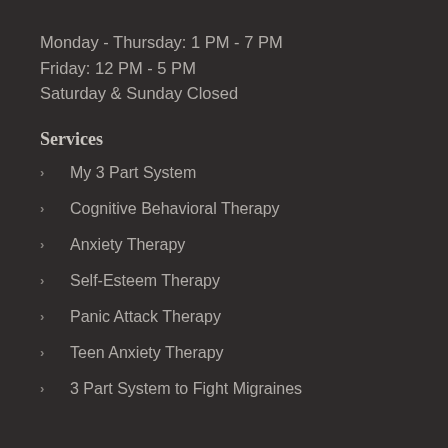Monday - Thursday: 1 PM - 7 PM
Friday: 12 PM - 5 PM
Saturday & Sunday Closed
Services
My 3 Part System
Cognitive Behavioral Therapy
Anxiety Therapy
Self-Esteem Therapy
Panic Attack Therapy
Teen Anxiety Therapy
3 Part System to Fight Migraines